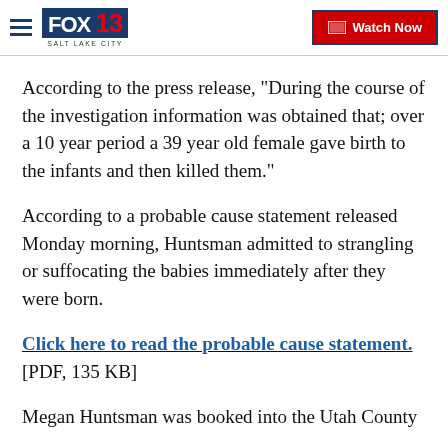FOX 13 SALT LAKE CITY | Watch Now
According to the press release, "During the course of the investigation information was obtained that; over a 10 year period a 39 year old female gave birth to the infants and then killed them."
According to a probable cause statement released Monday morning, Huntsman admitted to strangling or suffocating the babies immediately after they were born.
Click here to read the probable cause statement. [PDF, 135 KB]
Megan Huntsman was booked into the Utah County